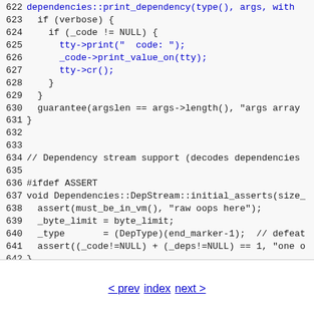Source code listing lines 622-647 showing C++ dependency stream implementation
< prev  index  next >